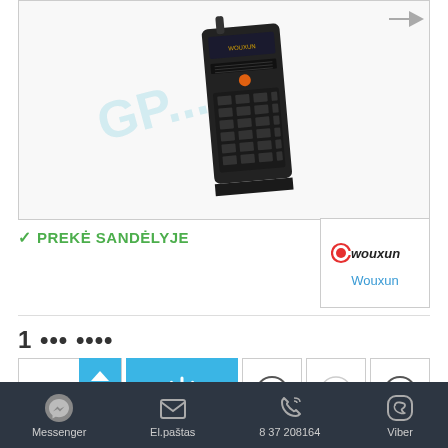[Figure (photo): Wouxun handheld radio transceiver product photo with watermark 'GP...' in light blue text overlay]
✓ PREKĖ SANDĖLYJE
[Figure (logo): Wouxun brand logo with text 'Wouxun' below]
1 ↑↓ [add to cart button] ? ♥ ⇄
Messenger | El.paštas | 8 37 208164 | Viber